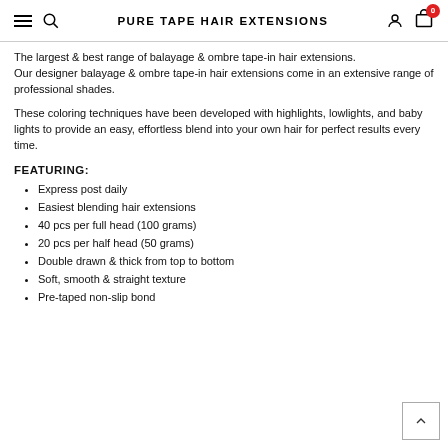PURE TAPE HAIR EXTENSIONS
The largest & best range of balayage & ombre tape-in hair extensions.
Our designer balayage & ombre tape-in hair extensions come in an extensive range of professional shades.
These coloring techniques have been developed with highlights, lowlights, and baby lights to provide an easy, effortless blend into your own hair for perfect results every time.
FEATURING:
Express post daily
Easiest blending hair extensions
40 pcs per full head (100 grams)
20 pcs per half head (50 grams)
Double drawn & thick from top to bottom
Soft, smooth & straight texture
Pre-taped non-slip bond